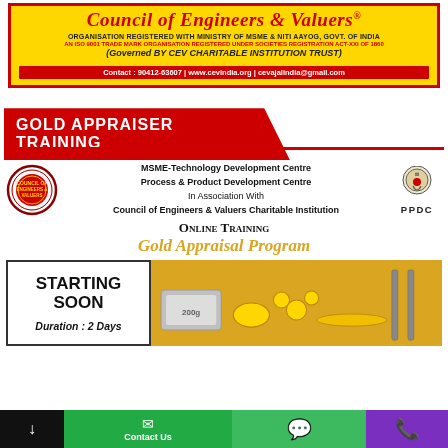[Figure (logo): Council of Engineers & Valuers header banner with yellow background, red border, organization registration details, contact information bar]
GOLD APPRAISER TRAINING
[Figure (infographic): Partnership logos and text: CEV circular logo, MSME-Technology Development Centre, Process & Product Development Centre, In Association With Council of Engineers & Valuers Charitable Institution, PPDC logo, Online Training Gold Appraisal Program heading, STARTING SOON box with Duration: 2 Days, gold jewelry image]
Contact Us | WhatsApp | Phone